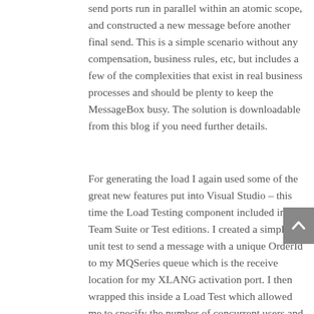send ports run in parallel within an atomic scope, and constructed a new message before another final send.  This is a simple scenario without any compensation, business rules, etc, but includes a few of the complexities that exist in real business processes and should be plenty to keep the MessageBox busy.  The solution is downloadable from this blog if you need further details.
For generating the load I again used some of the great new features put into Visual Studio – this time the Load Testing component included in the Team Suite or Test editions.  I created a simple unit test to send a message with a unique OrderId to my MQSeries queue which is the receive location for my XLANG activation port.  I then wrapped this inside a Load Test which allowed me to specify the number of concurrent users and a warm up time, as well as what